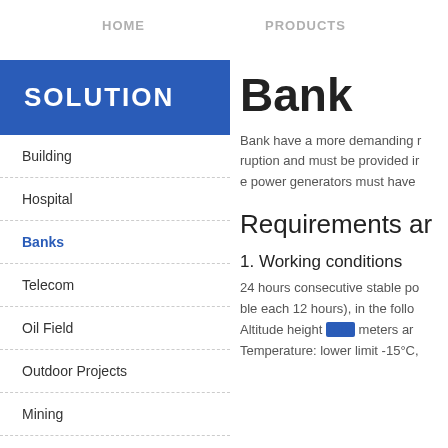HOME    PRODUCTS
SOLUTION
Building
Hospital
Banks
Telecom
Oil Field
Outdoor Projects
Mining
Power Plants
Bank
Bank have a more demanding ruption and must be provided i e power generators must have
Requirements ar
1. Working conditions
24 hours consecutive stable po ble each 12 hours), in the follo Altitude height 1000 meters an Temperature: lower limit -15°C,